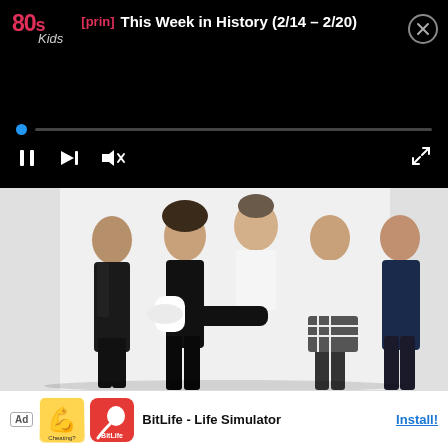80s Kids [prin] This Week in History (2/14 - 2/20)
[Figure (screenshot): Mobile podcast/media player UI showing top bar with 80s Kids logo in pink/red, [prin] tag in red, episode title 'This Week in History (2/14 - 2/20)', close button circle, a blue progress dot with progress bar beneath, and playback controls (pause, skip, volume mute icons) with expand icon.]
[Figure (photo): Photo of five young men (One Direction band members) posing together on white background. One is being held/carried horizontally by the others. They wear casual clothes — black outfits mostly, one in white tank top, one in plaid. Dark background on document side.]
Ad  Cheating?  BitLife - Life Simulator  Install!